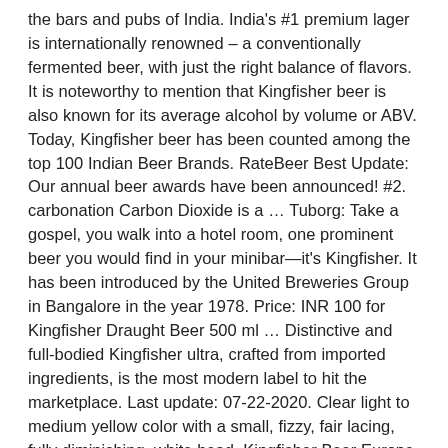the bars and pubs of India. India's #1 premium lager is internationally renowned – a conventionally fermented beer, with just the right balance of flavors. It is noteworthy to mention that Kingfisher beer is also known for its average alcohol by volume or ABV. Today, Kingfisher beer has been counted among the top 100 Indian Beer Brands. RateBeer Best Update: Our annual beer awards have been announced! #2. carbonation Carbon Dioxide is a … Tuborg: Take a gospel, you walk into a hotel room, one prominent beer you would find in your minibar—it's Kingfisher. It has been introduced by the United Breweries Group in Bangalore in the year 1978. Price: INR 100 for Kingfisher Draught Beer 500 ml … Distinctive and full-bodied Kingfisher ultra, crafted from imported ingredients, is the most modern label to hit the marketplace. Last update: 07-22-2020. Clear light to medium yellow color with a small, fizzy, fair lacing, fully diminishing, white head. Kingfisher Beer Europe Ltd. (KBE) is the European arm of United Breweries with a head office in Maidstone, Kent. We are also available in 60+ countries across the globe. Kingfisher is an Indian beer brewed by